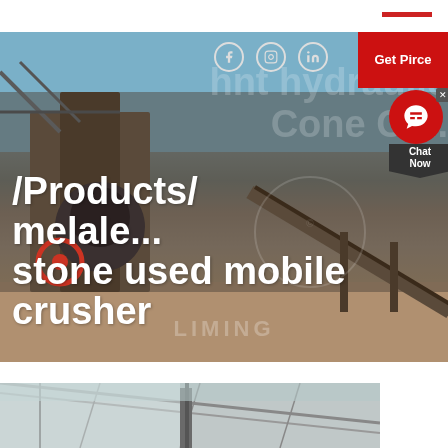[Figure (photo): Industrial stone crusher / mobile crusher machinery at an outdoor facility with conveyor belts and steel framework, with social media icons (Facebook, Instagram, LinkedIn) and a red 'Get Pirce' button overlaid on the image. Background text reads 'hnt hydraulic Cone Cr...' A chat widget with a headset icon and 'Chat Now' label is in the top-right. A watermark reads 'LIMING'.]
/Products/ melale... stone used mobile crusher
[Figure (photo): Interior of an industrial warehouse/factory with metal roof structure visible, partial view of machinery or equipment.]